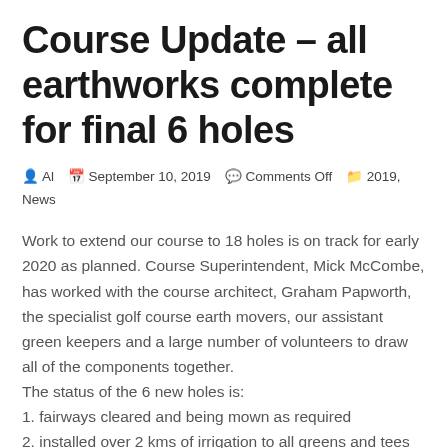Course Update – all earthworks complete for final 6 holes
Al  September 10, 2019  Comments Off  2019, News
Work to extend our course to 18 holes is on track for early 2020 as planned. Course Superintendent, Mick McCombe, has worked with the course architect, Graham Papworth, the specialist golf course earth movers, our assistant green keepers and a large number of volunteers to draw all of the components together.
The status of the 6 new holes is:
1. fairways cleared and being mown as required
2. installed over 2 kms of irrigation to all greens and tees